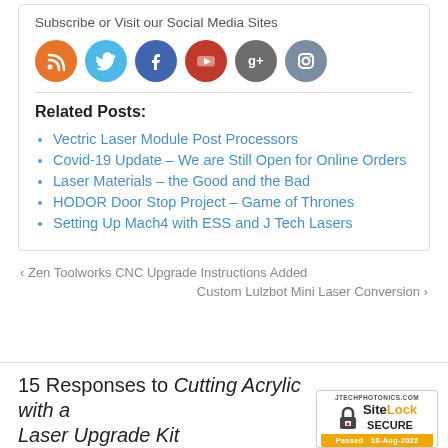Subscribe or Visit our Social Media Sites
[Figure (illustration): Six social media icon circles: RSS (orange), Twitter (light blue), Facebook (dark blue), YouTube (red), Google+ (gray), Instagram (blue-gray)]
Related Posts:
Vectric Laser Module Post Processors
Covid-19 Update – We are Still Open for Online Orders
Laser Materials – the Good and the Bad
HODOR Door Stop Project – Game of Thrones
Setting Up Mach4 with ESS and J Tech Lasers
< Zen Toolworks CNC Upgrade Instructions Added
Custom Lulzbot Mini Laser Conversion >
15 Responses to Cutting Acrylic with a Laser Upgrade Kit
[Figure (logo): SiteLock SECURE badge with JTECHPHOTONICS.COM url, padlock icon, SiteLock Secure text, and Passed 18-Aug-2022 banner]